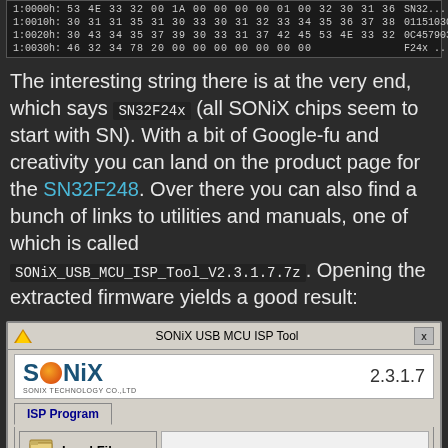[Figure (screenshot): Hex dump table showing memory contents at addresses 1:0000h through 1:0030h with hex values and ASCII representation]
The interesting string there is at the very end, which says SN32F24x (all SONiX chips seem to start with SN). With a bit of Google-fu and creativity you can land on the product page for the SN32F248. Over there you can also find a bunch of links to utilities and manuals, one of which is called SONiX_USB_MCU_ISP_Tool_V2.3.1.7.7z . Opening the extracted firmware yields a good result:
[Figure (screenshot): Screenshot of SONiX USB MCU ISP Tool version 2.3.1.7 showing the application window with ISP Program tab, Load File button, and VID field showing 0C45]